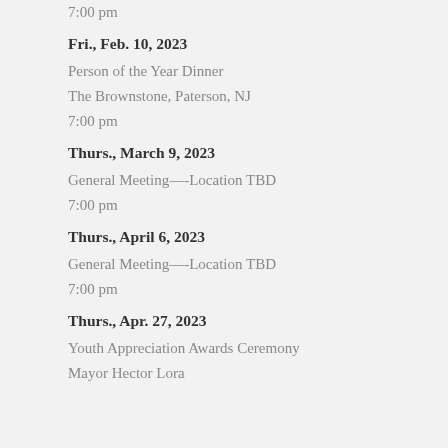7:00 pm
Fri., Feb. 10, 2023
Person of the Year Dinner
The Brownstone, Paterson, NJ
7:00 pm
Thurs., March 9, 2023
General Meeting—-Location TBD
7:00 pm
Thurs., April 6, 2023
General Meeting—-Location TBD
7:00 pm
Thurs., Apr. 27, 2023
Youth Appreciation Awards Ceremony
Mayor Hector Lora